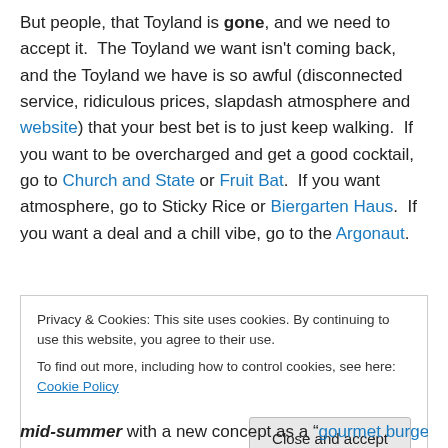But people, that Toyland is gone, and we need to accept it.  The Toyland we want isn't coming back, and the Toyland we have is so awful (disconnected service, ridiculous prices, slapdash atmosphere and website) that your best bet is to just keep walking.  If you want to be overcharged and get a good cocktail, go to Church and State or Fruit Bat.  If you want atmosphere, go to Sticky Rice or Biergarten Haus.  If you want a deal and a chill vibe, go to the Argonaut.
Privacy & Cookies: This site uses cookies. By continuing to use this website, you agree to their use. To find out more, including how to control cookies, see here: Cookie Policy
Close and accept
mid-summer with a new concept as a "gourmet burger